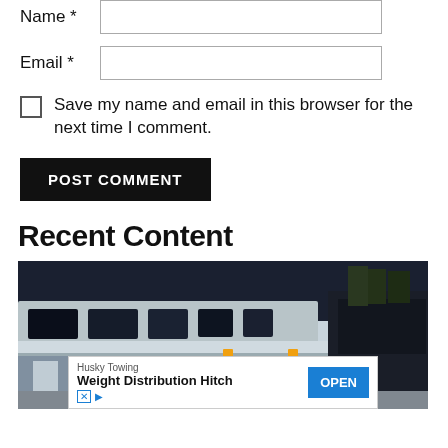Name *
Email *
Save my name and email in this browser for the next time I comment.
POST COMMENT
Recent Content
[Figure (photo): Photo of an Airstream trailer being towed, with a silver/metallic exterior and windows visible, parked next to a dark SUV. An advertisement banner for 'Husky Towing - Weight Distribution Hitch' with an OPEN button is overlaid at the bottom.]